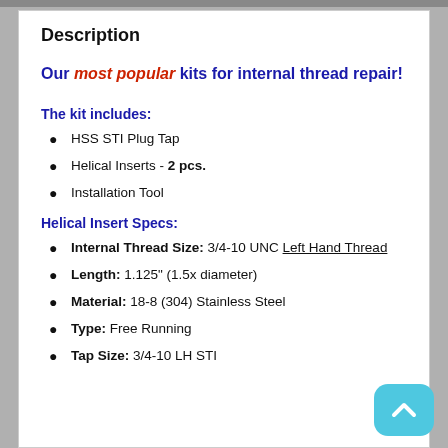Description
Our most popular kits for internal thread repair!
The kit includes:
HSS STI Plug Tap
Helical Inserts - 2 pcs.
Installation Tool
Helical Insert Specs:
Internal Thread Size: 3/4-10 UNC Left Hand Thread
Length: 1.125" (1.5x diameter)
Material: 18-8 (304) Stainless Steel
Type: Free Running
Tap Size: 3/4-10 LH STI